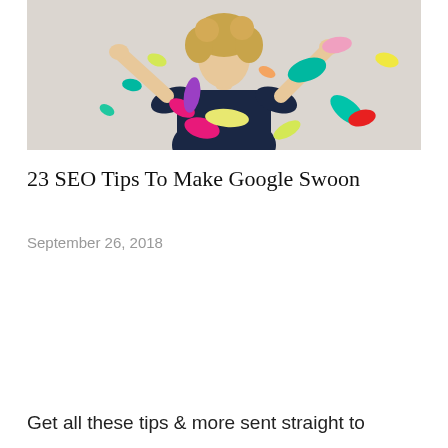[Figure (photo): Woman with curly hair wearing a dark navy dress with colorful print, arms raised, colorful confetti pieces falling around her against a white brick wall background.]
23 SEO Tips To Make Google Swoon
September 26, 2018
Get all these tips & more sent straight to